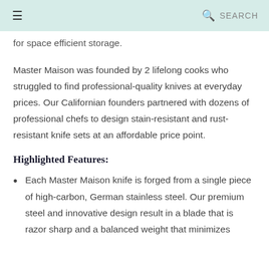≡  🔍 SEARCH
for space efficient storage.
Master Maison was founded by 2 lifelong cooks who struggled to find professional-quality knives at everyday prices. Our Californian founders partnered with dozens of professional chefs to design stain-resistant and rust-resistant knife sets at an affordable price point.
Highlighted Features:
Each Master Maison knife is forged from a single piece of high-carbon, German stainless steel. Our premium steel and innovative design result in a blade that is razor sharp and a balanced weight that minimizes